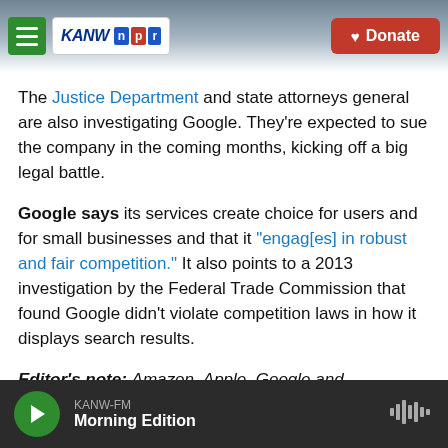KANW NPR | Donate
The Justice Department and state attorneys general are also investigating Google. They're expected to sue the company in the coming months, kicking off a big legal battle.
Google says its services create choice for users and for small businesses and that it "engag[es] in robust and fair competition." It also points to a 2013 investigation by the Federal Trade Commission that found Google didn't violate competition laws in how it displays search results.
Editor's note: Amazon, Apple, Google and
KANW-FM Morning Edition